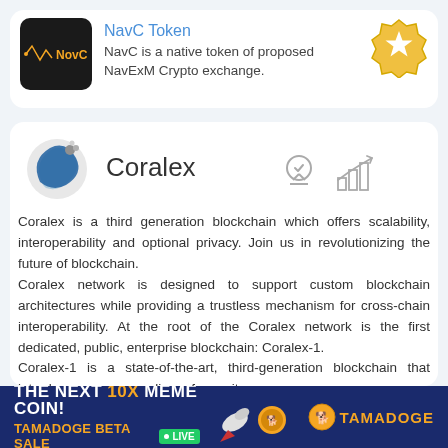[Figure (logo): NavC Token logo - dark background with NavC brand symbol]
NavC Token
NavC is a native token of proposed NavExM Crypto exchange.
[Figure (logo): Gold hexagon badge with star icon]
[Figure (logo): Coralex logo - silver and blue teardrop shape]
Coralex
[Figure (other): Award/medal icon and bar chart growth icon]
Coralex is a third generation blockchain which offers scalability, interoperability and optional privacy. Join us in revolutionizing the future of blockchain.
Coralex network is designed to support custom blockchain architectures while providing a trustless mechanism for cross-chain interoperability. At the root of the Coralex network is the first dedicated, public, enterprise blockchain: Coralex-1.
Coralex-1 is a state-of-the-art, third-generation blockchain that introduces a new paradigm of security
[Figure (infographic): Tamadoge advertisement banner: THE NEXT 10X MEME COIN! TAMADOGE BETA SALE LIVE. Tamadoge logo with rocket and coin imagery]